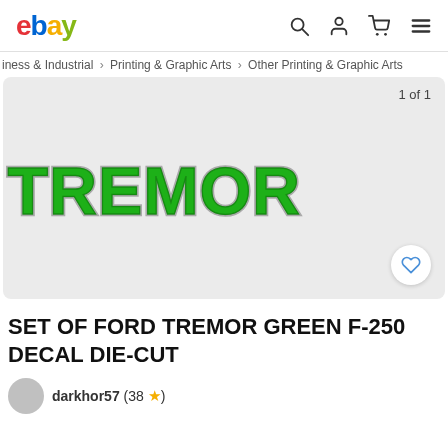ebay
iness & Industrial > Printing & Graphic Arts > Other Printing & Graphic Arts
[Figure (logo): TREMOR branded die-cut decal in green with black outline on light gray background]
SET OF FORD TREMOR GREEN F-250 DECAL DIE-CUT
darkhor57 (38 ★)